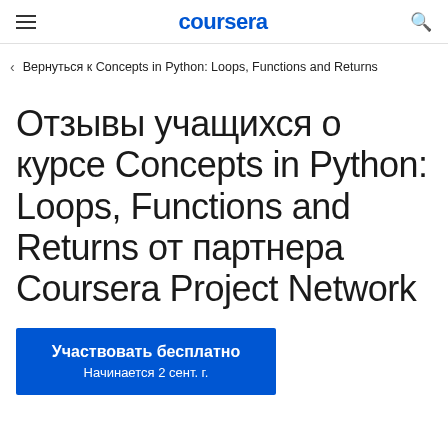coursera
Вернуться к Concepts in Python: Loops, Functions and Returns
Отзывы учащихся о курсе Concepts in Python: Loops, Functions and Returns от партнера Coursera Project Network
Участвовать бесплатно
Начинается 2 сент. г.